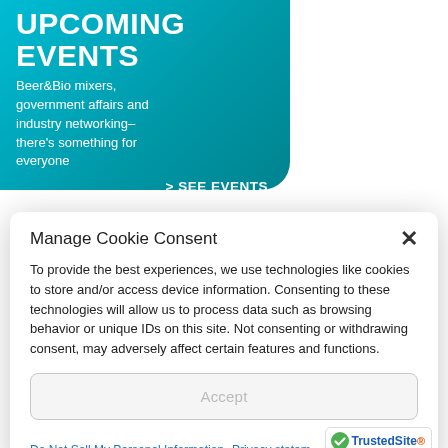[Figure (screenshot): Teal banner promoting upcoming events including Beer&Bio mixers, government affairs and industry networking, with a 'SEE EVENTS' call to action link]
Manage Cookie Consent
To provide the best experiences, we use technologies like cookies to store and/or access device information. Consenting to these technologies will allow us to process data such as browsing behavior or unique IDs on this site. Not consenting or withdrawing consent, may adversely affect certain features and functions.
Accept
Do Not Sell My Personal Information
Privacy statem
[Figure (logo): TrustedSite CERTIFIED SECURE badge]